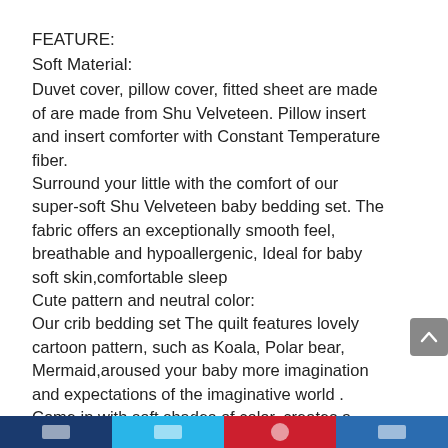FEATURE:
Soft Material:
Duvet cover, pillow cover, fitted sheet are made of are made from Shu Velveteen. Pillow insert and insert comforter with Constant Temperature fiber.
Surround your little with the comfort of our super-soft Shu Velveteen baby bedding set. The fabric offers an exceptionally smooth feel, breathable and hypoallergenic, Ideal for baby soft skin,comfortable sleep
Cute pattern and neutral color:
Our crib bedding set The quilt features lovely cartoon pattern, such as Koala, Polar bear, Mermaid,aroused your baby more imagination and expectations of the imaginative world .
Come in with soft shades of color, creates a comforting and